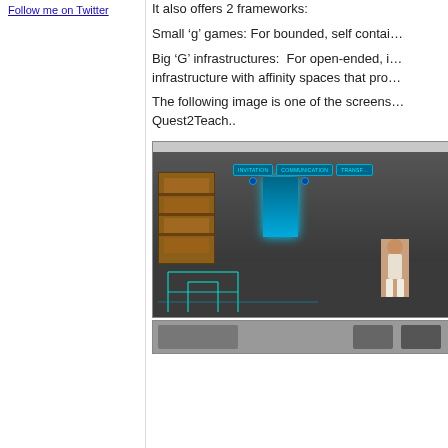Follow me on Twitter
It also offers 2 frameworks:
Small ‘g’ games: For bounded, self contained...
Big ‘G’ infrastructures:  For open-ended, infrastructure with affinity spaces that pro...
The following image is one of the screens... Quest2Teach..
[Figure (screenshot): Screenshot of Quest2Teach game interface showing a 3D game environment with a character in a stone hall, with HUD buttons labeled INVITATION, COMMUNICATION, TRANSF... at the top]
[Figure (screenshot): Partial screenshot of another Quest2Teach interface view at the bottom of the page]